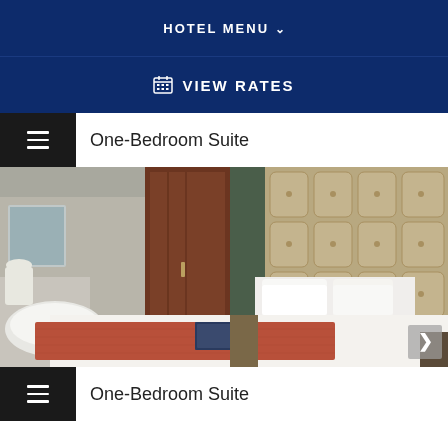HOTEL MENU
VIEW RATES
One-Bedroom Suite
[Figure (photo): Hotel one-bedroom suite interior showing a large bed with white linens and a rust/terracotta runner, a tufted tan upholstered headboard, pendant lamp, dark wood wardrobe, and an open-plan bathroom area visible in the background.]
One-Bedroom Suite